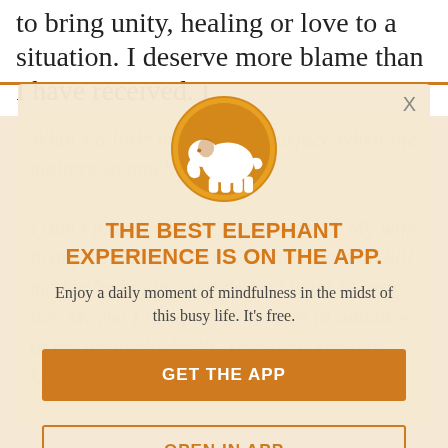to bring unity, healing or love to a situation. I deserve more blame than I have received. I
[Figure (screenshot): App promotion modal overlay with elephant logo. Contains orange elephant icon in gold circle, heading 'THE BEST ELEPHANT EXPERIENCE IS ON THE APP.', subtitle text, and two buttons: GET THE APP and OPEN IN APP. Background shows faded italic article text.]
THE BEST ELEPHANT EXPERIENCE IS ON THE APP.
Enjoy a daily moment of mindfulness in the midst of this busy life. It's free.
GET THE APP
OPEN IN APP